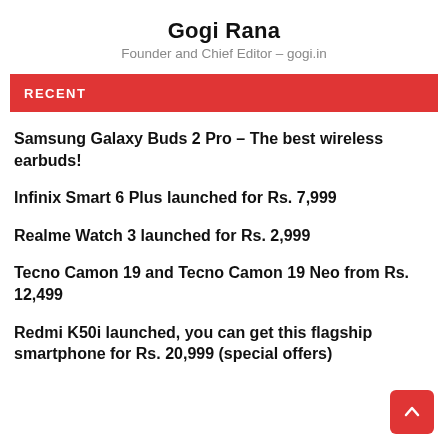Gogi Rana
Founder and Chief Editor – gogi.in
RECENT
Samsung Galaxy Buds 2 Pro – The best wireless earbuds!
Infinix Smart 6 Plus launched for Rs. 7,999
Realme Watch 3 launched for Rs. 2,999
Tecno Camon 19 and Tecno Camon 19 Neo from Rs. 12,499
Redmi K50i launched, you can get this flagship smartphone for Rs. 20,999 (special offers)